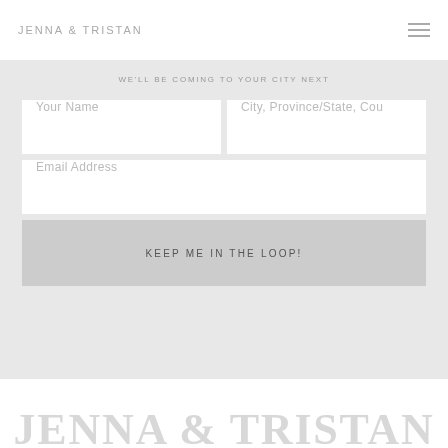JENNA & TRISTAN
WE'LL BE COMING TO YOUR CITY NEXT
Your Name
City, Province/State, Cou
Email Address
KEEP ME IN THE LOOP!
JENNA & TRISTAN